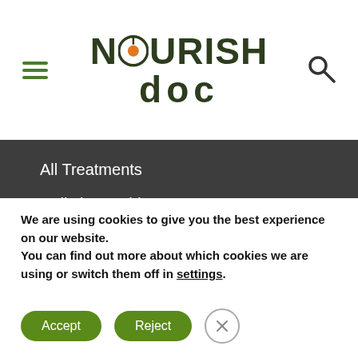[Figure (logo): NourishDoc logo with hamburger menu icon on the left and search icon on the right]
All Treatments
Holistic Providers
Wellness Plans
Experts
We are using cookies to give you the best experience on our website.
You can find out more about which cookies we are using or switch them off in settings.